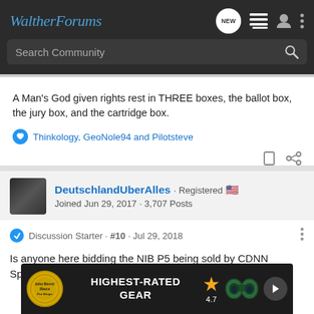WaltherForums
A Man's God given rights rest in THREE boxes, the ballot box, the jury box, and the cartridge box.
Thinkology, GeoNole94 and Pilotsteve
DeutschlandUberAlles · Registered
Joined Jun 29, 2017 · 3,707 Posts
Discussion Starter · #10 · Jul 29, 2018
Is anyone here bidding the NIB P5 being sold by CDNN Sports?
[Figure (infographic): Bass Pro Shops advertisement banner: HIGHEST-RATED GEAR, rating 4.7 stars, binoculars image]